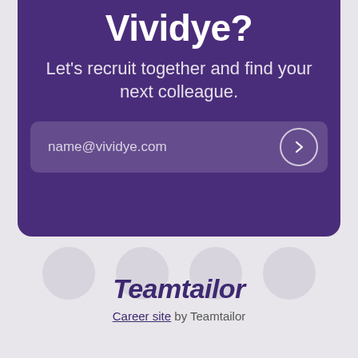Vividye?
Let's recruit together and find your next colleague.
name@vividye.com
[Figure (illustration): Four circular avatar placeholders in a row, light grey circles overlapping the bottom edge of the purple card]
[Figure (logo): Teamtailor logo in dark purple italic script font]
Career site by Teamtailor